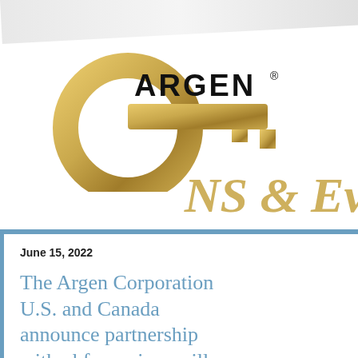[Figure (logo): Argen Corporation logo — gold stylized 'a' with key shape and ARGEN wordmark in black, on white background with partial gold ampersand text visible]
June 15, 2022
The Argen Corporation U.S. and Canada announce partnership with vhf premium mills